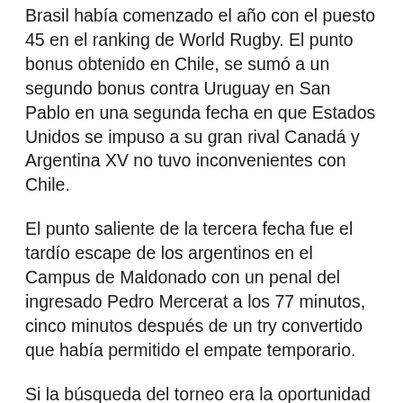Brasil había comenzado el año con el puesto 45 en el ranking de World Rugby. El punto bonus obtenido en Chile, se sumó a un segundo bonus contra Uruguay en San Pablo en una segunda fecha en que Estados Unidos se impuso a su gran rival Canadá y Argentina XV no tuvo inconvenientes con Chile.
El punto saliente de la tercera fecha fue el tardío escape de los argentinos en el Campus de Maldonado con un penal del ingresado Pedro Mercerat a los 77 minutos, cinco minutos después de un try convertido que había permitido el empate temporario.
Si la búsqueda del torneo era la oportunidad de competencia para toda la región, pocos estaban preparados para lo que pasó en la Arena Barueri de San Pablo.
El profeta Moisés